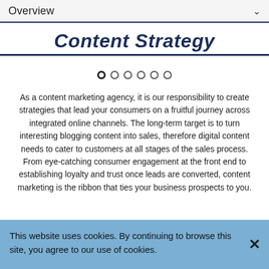Overview
Content Strategy
[Figure (other): Carousel navigation dots — one filled/active dot followed by five empty dots]
As a content marketing agency, it is our responsibility to create strategies that lead your consumers on a fruitful journey across integrated online channels. The long-term target is to turn interesting blogging content into sales, therefore digital content needs to cater to customers at all stages of the sales process. From eye-catching consumer engagement at the front end to establishing loyalty and trust once leads are converted, content marketing is the ribbon that ties your business prospects to you.
This website uses cookies. By continuing to browse this site, you agree to our use of cookies.